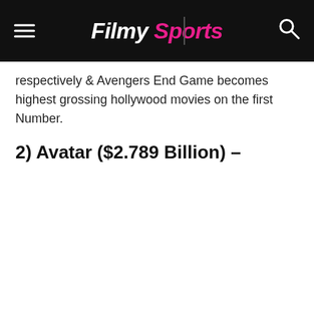Filmy Sports
respectively & Avengers End Game becomes highest grossing hollywood movies on the first Number.
2) Avatar ($2.789 Billion) –